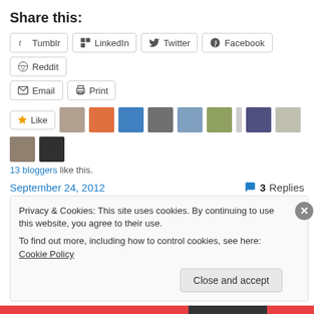Share this:
Tumblr
LinkedIn
Twitter
Facebook
Reddit
Email
Print
Like | 13 bloggers like this.
September 24, 2012    3 Replies
Privacy & Cookies: This site uses cookies. By continuing to use this website, you agree to their use. To find out more, including how to control cookies, see here: Cookie Policy
Close and accept